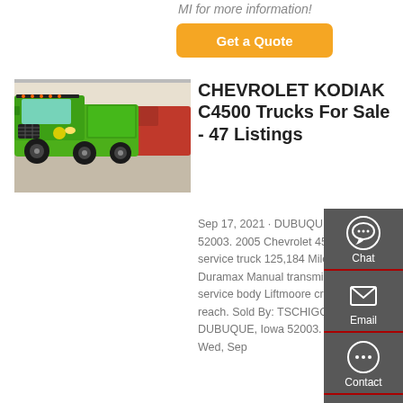MI for more information!
Get a Quote
[Figure (photo): Green Chevrolet Kodiak dump truck on display floor]
CHEVROLET KODIAK C4500 Trucks For Sale - 47 Listings
Sep 17, 2021 · DUBUQUE, IA 52003. 2005 Chevrolet 4500 service truck 125,184 Miles C Duramax Manual transmission 13' service body Liftmoore crane 20' reach. Sold By: TSCHIGGFRIE. DUBUQUE, Iowa 52003. Updated: Wed, Sep
[Figure (infographic): Sidebar with Chat, Email, Contact, and Top navigation icons on dark gray background]